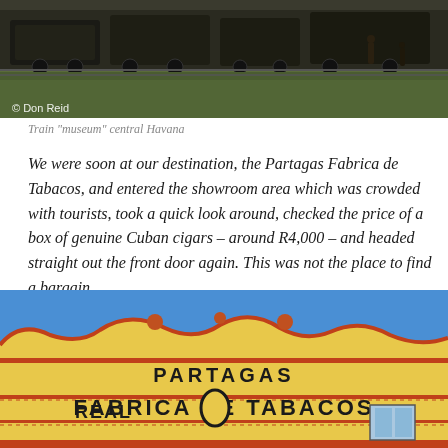[Figure (photo): Photograph of old train cars at a train museum in central Havana, with figures visible in the background against a grassy area. Photo credit: © Don Reid]
Train "museum" central Havana
We were soon at our destination, the Partagas Fabrica de Tabacos, and entered the showroom area which was crowded with tourists, took a quick look around, checked the price of a box of genuine Cuban cigars – around R4,000 – and headed straight out the front door again. This was not the place to find a bargain.
[Figure (photo): Photograph of the ornate facade of the Partagas Real Fabrica de Tabacos building, showing yellow and red decorative architecture against a bright blue sky, with the text PARTAGAS REAL FABRICA DE TABACOS prominently displayed.]